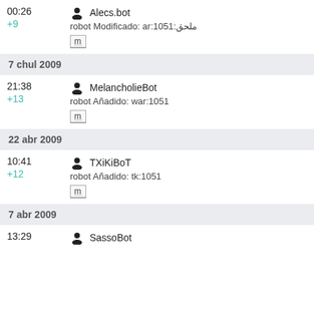00:26 Alecs.bot +9 robot Modificado: ar:1051:ملحق m
7 chul 2009
21:38 MelancholieBot +13 robot Añadido: war:1051 m
22 abr 2009
10:41 TXiKiBoT +12 robot Añadido: tk:1051 m
7 abr 2009
13:29 SassoBot